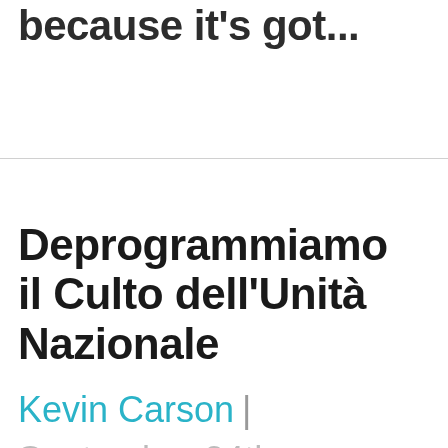because it's got...
Deprogrammiamo il Culto dell'Unità Nazionale
Kevin Carson | September 24th,